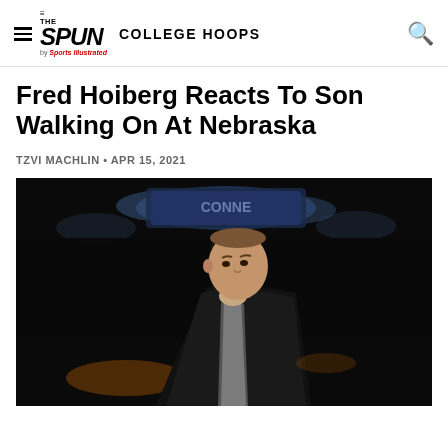THE SPUN by Sports Illustrated — COLLEGE HOOPS
Fred Hoiberg Reacts To Son Walking On At Nebraska
TZVI MACHLIN • APR 15, 2021
[Figure (photo): Fred Hoiberg, Nebraska basketball coach, looking up in a dark arena wearing a dark suit jacket over a checked shirt]